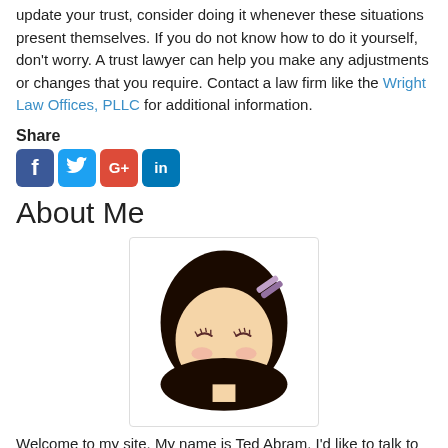update your trust, consider doing it whenever these situations present themselves. If you do not know how to do it yourself, don't worry. A trust lawyer can help you make any adjustments or changes that you require. Contact a law firm like the Wright Law Offices, PLLC for additional information.
Share
[Figure (illustration): Social media sharing icons: Facebook (blue), Twitter (light blue), Google+ (red), LinkedIn (dark blue)]
About Me
[Figure (illustration): Cartoon avatar illustration of a smiling girl with dark hair, hair clip, rosy cheeks, and closed eyes]
Welcome to my site. My name is Ted Abram. I'd like to talk to you about applying for social security. When my mother needed to